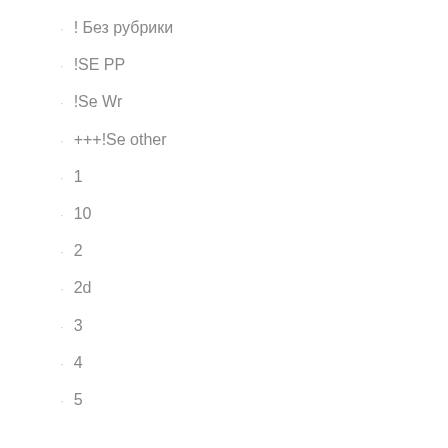! Без рубрики
!SE PP
!Se Wr
+++!Se other
1
10
2
2d
3
4
5